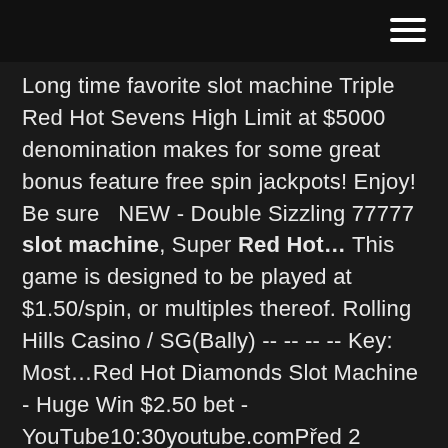Long time favorite slot machine Triple Red Hot Sevens High Limit at $5000 denomination makes for some great bonus feature free spin jackpots! Enjoy! Be sure ...  NEW - Double Sizzling 77777 slot machine, Super Red Hot... This game is designed to be played at $1.50/spin, or multiples thereof. Rolling Hills Casino / SG(Bally) -- -- -- -- Key: Most…Red Hot Diamonds Slot Machine - Huge Win $2.50 bet - YouTube10:30youtube.comPřed 2 lety94 tis. zhlédnutíRed Hot Diamonds slot machine featuring SpinFerno free games. Multiple retriggers #stc11stcRed Hot Sevens Slot Machinehttps://gwfocus.com/red-hot-sevens-slot-machineCome alive with 2X Diamond slot machine Play free Triple RED HOT ..25 Dec 2014 .. another name red hot sevens slot machine for a slot machine. mills vest pocket